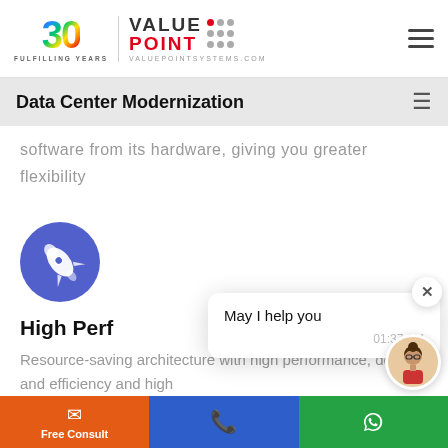[Figure (logo): ValuePoint Systems 30 Fulfilling Years logo with colorful '30' numeral and dot-grid wordmark]
Data Center Modernization
software from its hardware, giving you greater flexibility
[Figure (illustration): Blue circle with white rocket/launch icon]
High Perf
Resource-saving architecture with high performance, density and efficiency and high
May I help you
01:37 AM